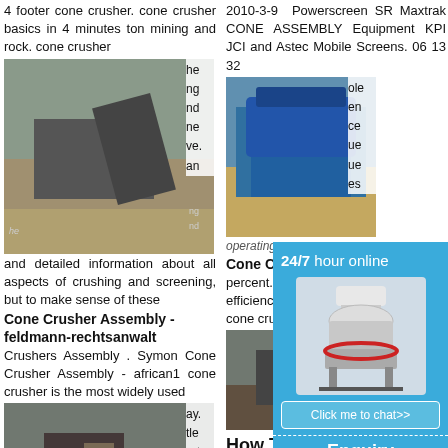4 footer cone crusher. cone crusher basics in 4 minutes ton mining and rock. cone crusher
[Figure (photo): Cone crusher / mining equipment at outdoor site with conveyor belt]
and detailed information about all aspects of crushing and screening, but to make sense of these
Cone Crusher Assembly - feldmann-rechtsanwalt
Crushers Assembly . Symon Cone Crusher Assembly - african1 cone crusher is the most widely used
[Figure (photo): Industrial cone crusher assembly at facility]
Get/Quote
Assemble A Cone Crusher
2010-3-9  Powerscreen SR Maxtrak CONE ASSEMBLY Equipment KPI JCI and Astec Mobile Screens. 06 13 32
[Figure (photo): Blue mobile cone crusher machine at outdoor site]
operating
Cone Crusher Wear Parts
percent. production. Crushers efficiency precision manufacturers cone crusher
[Figure (photo): Cone crusher parts / second outdoor crusher image]
How To a
[Figure (infographic): 24/7 hour online chat overlay with cone crusher image, Click me to chat>> button, Enquiry section, limingjlmofen branding]
24/7 hour online
Click me to chat>>
Enquiry
limingjlmofen